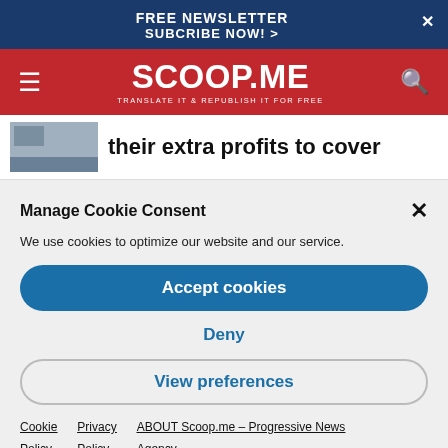FREE NEWSLETTER
SUBCRIBE NOW! >
[Figure (logo): SCOOP.ME logo with tagline TRANSLATE IT & REPUBLISH IT FOR FREE on red navigation bar]
their extra profits to cover
Manage Cookie Consent
We use cookies to optimize our website and our service.
Accept cookies
Deny
View preferences
Cookie Policy   Privacy Policy   ABOUT Scoop.me – Progressive News Agency